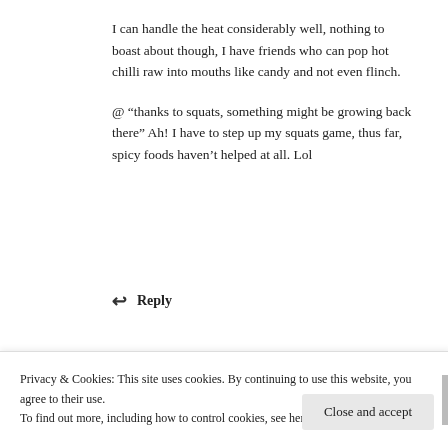I can handle the heat considerably well, nothing to boast about though, I have friends who can pop hot chilli raw into mouths like candy and not even flinch.
@ “thanks to squats, something might be growing back there” Ah! I have to step up my squats game, thus far, spicy foods haven’t helped at all. Lol
↩ Reply
missmondaymonday
DECEMBER 14, 2015 AT 5:43 PM
Privacy & Cookies: This site uses cookies. By continuing to use this website, you agree to their use. To find out more, including how to control cookies, see here: Cookie Policy
Close and accept